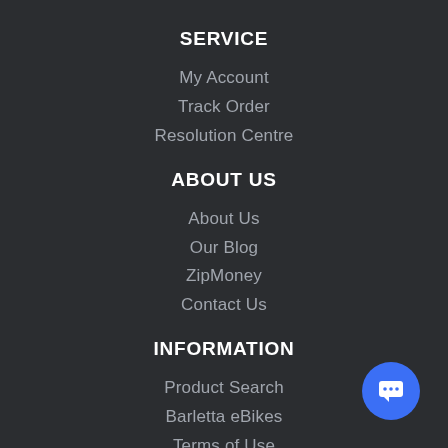SERVICE
My Account
Track Order
Resolution Centre
ABOUT US
About Us
Our Blog
ZipMoney
Contact Us
INFORMATION
Product Search
Barletta eBikes
Terms of Use
Privacy Policy
[Figure (illustration): Blue circular chat button with speech bubble icon in bottom right corner]